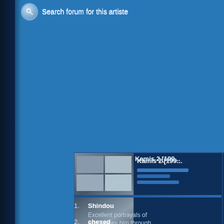Search forum for this artiste
[Figure (screenshot): Album cover for Kamis 2 [1999] showing movie poster with multiple faces]
Kamis 2 [199...
[Figure (screenshot): Black placeholder image reading PICTURE NOT AVAILABLE]
Last S...
1. Shindou — Excellent portrayals of and carries him through
2. chesed — I never seen any of his endearing demeanor.